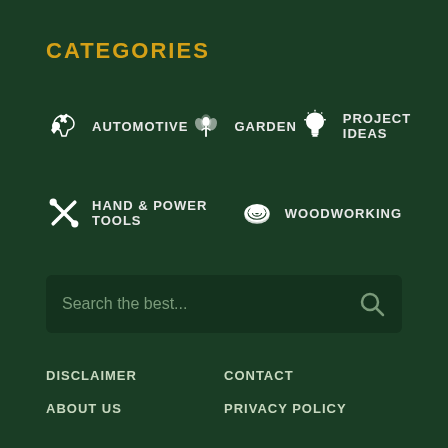CATEGORIES
AUTOMOTIVE
GARDEN
PROJECT IDEAS
HAND & POWER TOOLS
WOODWORKING
Search the best...
DISCLAIMER
CONTACT
ABOUT US
PRIVACY POLICY